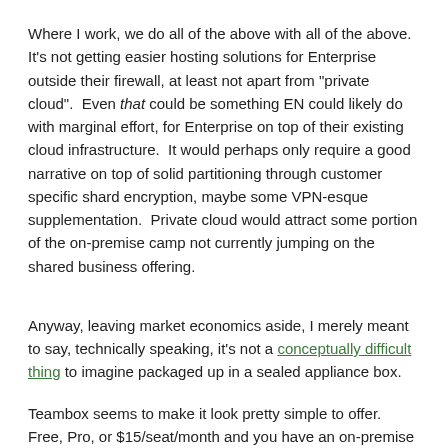Where I work, we do all of the above with all of the above.  It's not getting easier hosting solutions for Enterprise outside their firewall, at least not apart from "private cloud".  Even that could be something EN could likely do with marginal effort, for Enterprise on top of their existing cloud infrastructure.  It would perhaps only require a good narrative on top of solid partitioning through customer specific shard encryption, maybe some VPN-esque supplementation.  Private cloud would attract some portion of the on-premise camp not currently jumping on the shared business offering.
Anyway, leaving market economics aside, I merely meant to say, technically speaking, it's not a conceptually difficult thing to imagine packaged up in a sealed appliance box.
Teambox seems to make it look pretty simple to offer.  Free, Pro, or $15/seat/month and you have an on-premise VM, done.